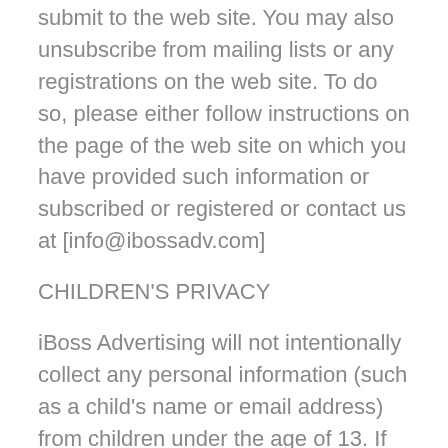submit to the web site. You may also unsubscribe from mailing lists or any registrations on the web site. To do so, please either follow instructions on the page of the web site on which you have provided such information or subscribed or registered or contact us at [info@ibossadv.com]
CHILDREN'S PRIVACY
iBoss Advertising will not intentionally collect any personal information (such as a child's name or email address) from children under the age of 13. If you think that we have collected personal information from children under the age of 13, please